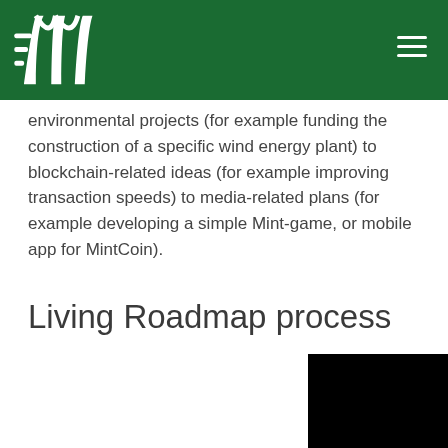MintCoin logo and navigation header
environmental projects (for example funding the construction of a specific wind energy plant) to blockchain-related ideas (for example improving transaction speeds) to media-related plans (for example developing a simple Mint-game, or mobile app for MintCoin).
Living Roadmap process
[Figure (photo): Dark/black image panel on the right side of the page, partially visible, with a green horizontal divider line]